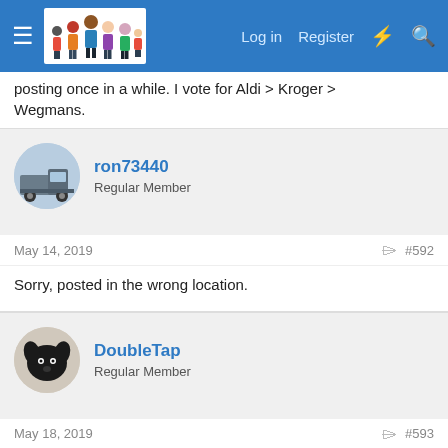Log in  Register
posting once in a while. I vote for Aldi > Kroger > Wegmans.
ron73440
Regular Member
May 14, 2019  #592
Sorry, posted in the wrong location.
DoubleTap
Regular Member
May 18, 2019  #593
This morning I spent a good while re-reading posts on this thread- going back to when it was re-established after mysteriously disappearing (back in summer of 2017). My beloved Grapeshot posted SO much....... daily..........about his